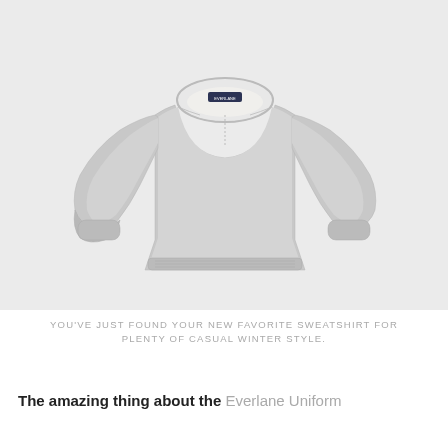[Figure (photo): A grey heather crewneck sweatshirt with a small brand label at the neckline, displayed flat against a light grey background. The sweatshirt has ribbed cuffs and hem, and seam detail at the chest.]
YOU'VE JUST FOUND YOUR NEW FAVORITE SWEATSHIRT FOR PLENTY OF CASUAL WINTER STYLE.
The amazing thing about the Everlane Uniform